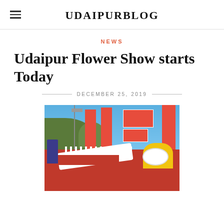UDAIPURBLOG
NEWS
Udaipur Flower Show starts Today
DECEMBER 25, 2019
[Figure (photo): Outdoor flower show with colorful floral displays, red and white flower arrangements, yellow flowers, red banners with sponsorship signs, a red carpet walkway, white fence, mountains in background under blue sky.]